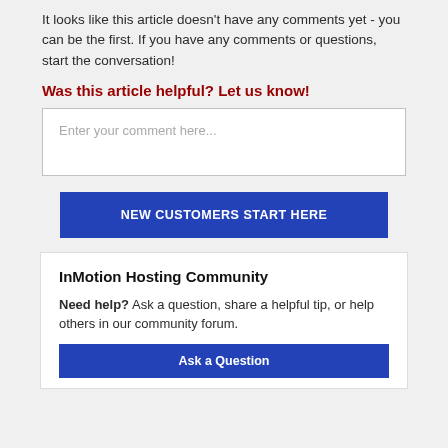It looks like this article doesn't have any comments yet - you can be the first. If you have any comments or questions, start the conversation!
Was this article helpful? Let us know!
Enter your comment here...
NEW CUSTOMERS START HERE
InMotion Hosting Community
Need help? Ask a question, share a helpful tip, or help others in our community forum.
Ask a Question